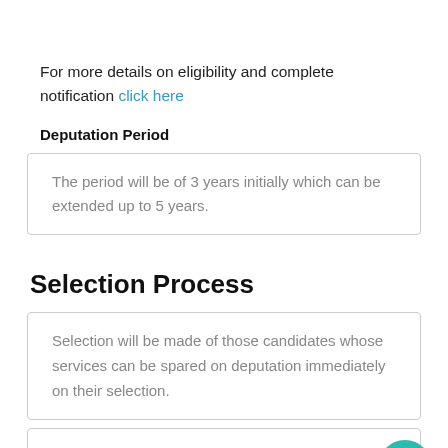For more details on eligibility and complete notification click here
Deputation Period
The period will be of 3 years initially which can be extended up to 5 years.
Selection Process
Selection will be made of those candidates whose services can be spared on deputation immediately on their selection.
The application of only those officers would